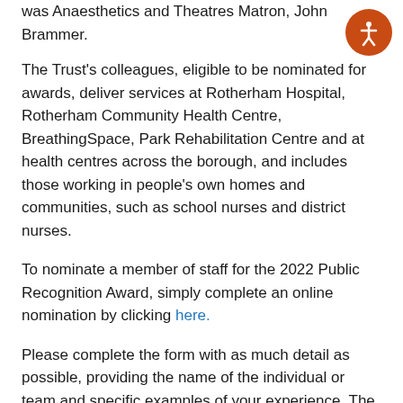was Anaesthetics and Theatres Matron, John Brammer.
The Trust's colleagues, eligible to be nominated for awards, deliver services at Rotherham Hospital, Rotherham Community Health Centre, BreathingSpace, Park Rehabilitation Centre and at health centres across the borough, and includes those working in people's own homes and communities, such as school nurses and district nurses.
To nominate a member of staff for the 2022 Public Recognition Award, simply complete an online nomination by clicking here.
Please complete the form with as much detail as possible, providing the name of the individual or team and specific examples of your experience. The closing date for nominations is Monday 18 April 2022.